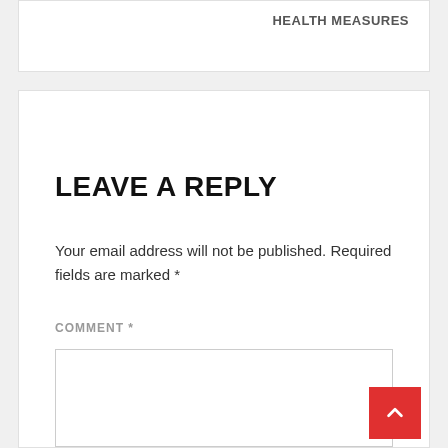HEALTH MEASURES
LEAVE A REPLY
Your email address will not be published. Required fields are marked *
COMMENT *